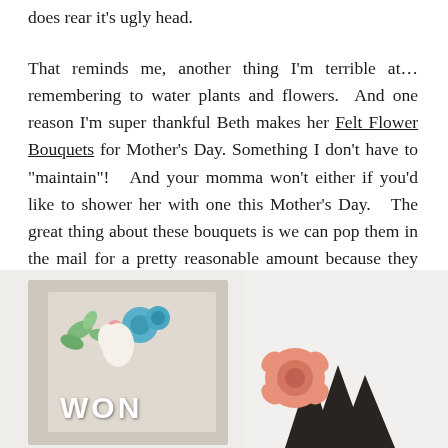does rear it's ugly head.
That reminds me, another thing I'm terrible at… remembering to water plants and flowers.  And one reason I'm super thankful Beth makes her Felt Flower Bouquets for Mother's Day.  Something I don't have to "maintain"!   And your momma won't either if you'd like to shower her with one this Mother's Day.   The great thing about these bouquets is we can pop them in the mail for a pretty reasonable amount because they don't weigh very much.
[Figure (photo): Left: A greeting card on a beige background featuring floral decorations and the word 'WON' in white letters. Right: Partial view of a person's hand holding dark triangular shapes, with a peach/salmon colored felt flower visible.]